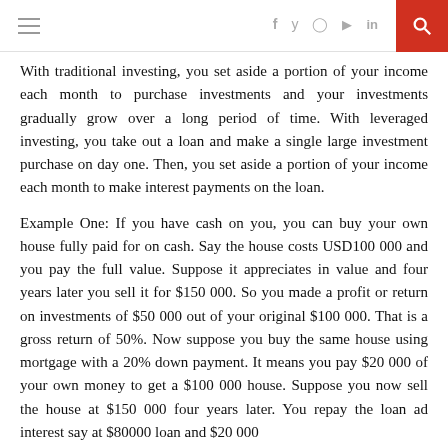≡  f  y  ○  ▶  in  🔍
With traditional investing, you set aside a portion of your income each month to purchase investments and your investments gradually grow over a long period of time. With leveraged investing, you take out a loan and make a single large investment purchase on day one. Then, you set aside a portion of your income each month to make interest payments on the loan.
Example One: If you have cash on you, you can buy your own house fully paid for on cash. Say the house costs USD100 000 and you pay the full value. Suppose it appreciates in value and four years later you sell it for $150 000. So you made a profit or return on investments of $50 000 out of your original $100 000. That is a gross return of 50%. Now suppose you buy the same house using mortgage with a 20% down payment. It means you pay $20 000 of your own money to get a $100 000 house. Suppose you now sell the house at $150 000 four years later. You repay the loan ad interest say at $80000 loan and $20 000